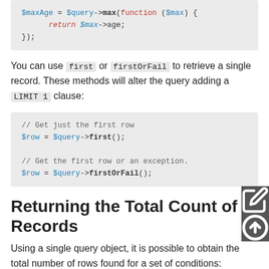[Figure (screenshot): Code block showing $maxAge = $query->max(function ($max) { return $max->age; });]
You can use first or firstOrFail to retrieve a single record. These methods will alter the query adding a LIMIT 1 clause:
[Figure (screenshot): Code block showing // Get just the first row
$row = $query->first();

// Get the first row or an exception.
$row = $query->firstOrFail();]
Returning the Total Count of Records
Using a single query object, it is possible to obtain the total number of rows found for a set of conditions: